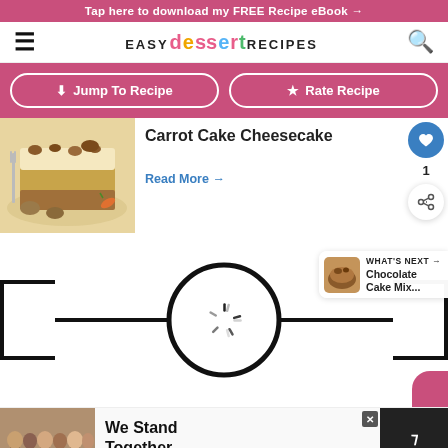Tap here to download my FREE Recipe eBook →
[Figure (logo): Easy Dessert Recipes logo with colorful lettering]
↓ Jump To Recipe
★ Rate Recipe
Carrot Cake Cheesecake
[Figure (photo): Slice of carrot cake cheesecake with pecans on a plate]
Read More →
[Figure (screenshot): Loading spinner inside a circle with timeline bar, and What's Next panel showing Chocolate Cake Mix...]
[Figure (photo): Advertisement banner: group photo with We Stand Together text]